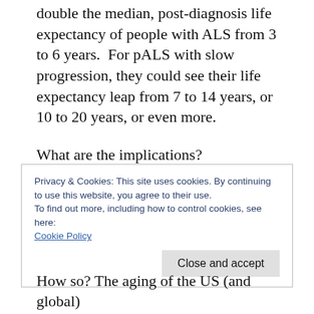double the median, post-diagnosis life expectancy of people with ALS from 3 to 6 years.  For pALS with slow progression, they could see their life expectancy leap from 7 to 14 years, or 10 to 20 years, or even more.
What are the implications?
ALS demographics. This will potentially double the number of people living with ALS. In the US, our numbers will quickly grow from 30,000
Privacy & Cookies: This site uses cookies. By continuing to use this website, you agree to their use.
To find out more, including how to control cookies, see here:
Cookie Policy
How so? The aging of the US (and global)